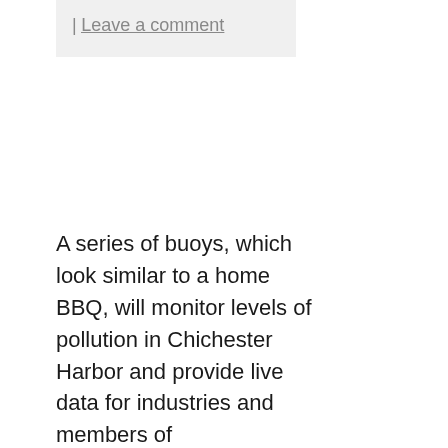| Leave a comment
A series of buoys, which look similar to a home BBQ, will monitor levels of pollution in Chichester Harbor and provide live data for industries and members of